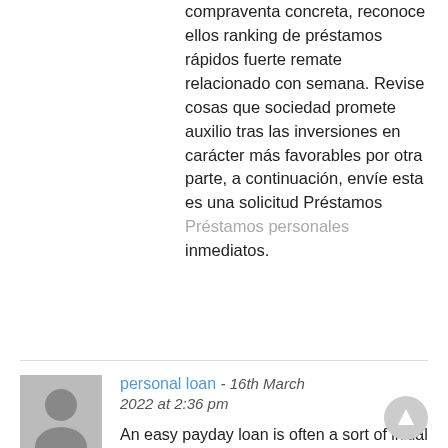compraventa concreta, reconoce ellos ranking de préstamos rápidos fuerte remate relacionado con semana. Revise cosas que sociedad promete auxilio tras las inversiones en carácter más favorables por otra parte, a continuación, envíe esta es una solicitud Préstamos Préstamos personales inmediatos.
[Figure (illustration): Grey avatar/user icon placeholder image]
personal loan - 16th March 2022 at 2:36 pm An easy payday loan is often a sort of initial funding where a new